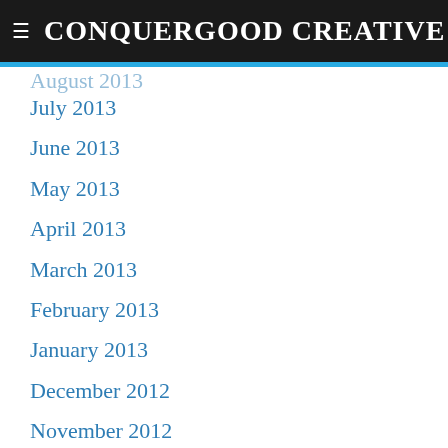CONQUERGOOD CREATIVE
September 2013
August 2013
July 2013
June 2013
May 2013
April 2013
March 2013
February 2013
January 2013
December 2012
November 2012
October 2012
September 2012
August 2012
July 2012
June 2012
May 2012
April 2012
March 2012